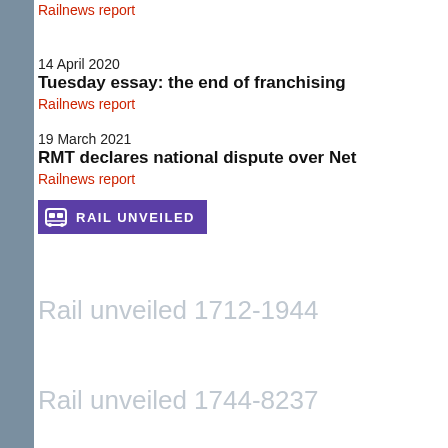14 April 2020
Tuesday essay: the end of franchising
Railnews report
19 March 2021
RMT declares national dispute over Net
Railnews report
[Figure (logo): Rail Unveiled badge/logo with purple background and train icon]
Rail unveiled 1712-1944
Rail unveiled 1744-8237